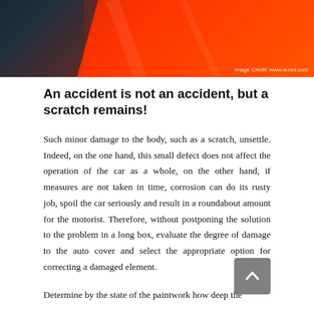[Figure (photo): Red car body panel / paintwork close-up photo with image credit 'Image Credit: www.w.red.com']
An accident is not an accident, but a scratch remains!
Such minor damage to the body, such as a scratch, unsettle. Indeed, on the one hand, this small defect does not affect the operation of the car as a whole, on the other hand, if measures are not taken in time, corrosion can do its rusty job, spoil the car seriously and result in a roundabout amount for the motorist. Therefore, without postponing the solution to the problem in a long box, evaluate the degree of damage to the auto cover and select the appropriate option for correcting a damaged element.
Determine by the state of the paintwork how deep the